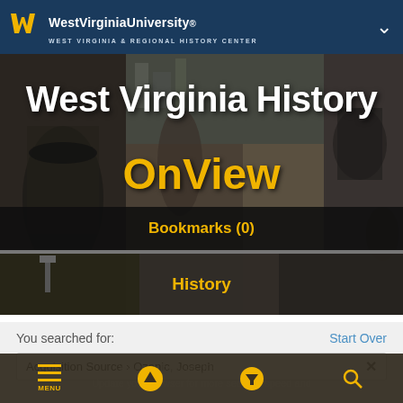West Virginia University – WEST VIRGINIA & REGIONAL HISTORY CENTER
[Figure (screenshot): Hero banner collage of historical West Virginia photographs with text overlay reading 'West Virginia History OnView']
Bookmarks (0)
History
You searched for:
Start Over
Acquisition Source › Ozanic, Joseph
MENU | [up arrow] | [filter] | [search] | Your web browser (IOS) is out of date. Update your browser for more security, speed and